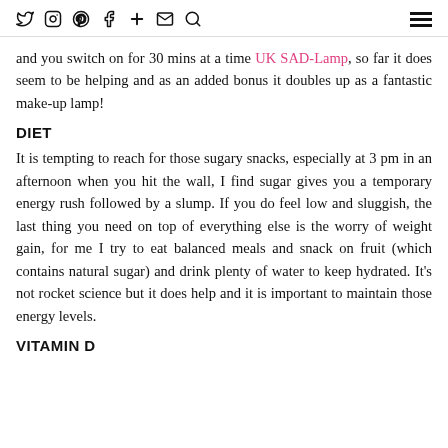[social icons: twitter, instagram, pinterest, facebook, plus, email, search] [hamburger menu]
and you switch on for 30 mins at a time UK SAD-Lamp, so far it does seem to be helping and as an added bonus it doubles up as a fantastic make-up lamp!
DIET
It is tempting to reach for those sugary snacks, especially at 3 pm in an afternoon when you hit the wall, I find sugar gives you a temporary energy rush followed by a slump. If you do feel low and sluggish, the last thing you need on top of everything else is the worry of weight gain, for me I try to eat balanced meals and snack on fruit (which contains natural sugar) and drink plenty of water to keep hydrated. It's not rocket science but it does help and it is important to maintain those energy levels.
VITAMIN D